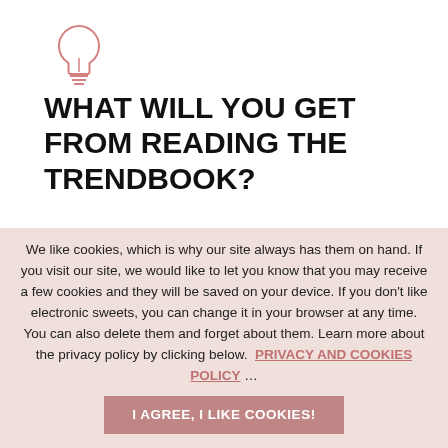[Figure (illustration): Light bulb icon outline in rose/pink color]
WHAT WILL YOU GET FROM READING THE TRENDBOOK?
We like cookies, which is why our site always has them on hand. If you visit our site, we would like to let you know that you may receive a few cookies and they will be saved on your device. If you don't like electronic sweets, you can change it in your browser at any time. You can also delete them and forget about them. Learn more about the privacy policy by clicking below.  PRIVACY AND COOKIES POLICY ...
I AGREE, I LIKE COOKIES!